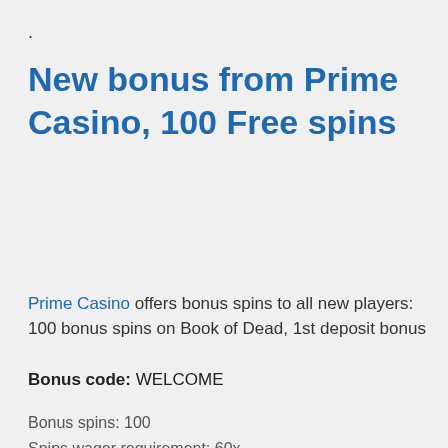.
New bonus from Prime Casino, 100 Free spins
Prime Casino offers bonus spins to all new players: 100 bonus spins on Book of Dead, 1st deposit bonus
Bonus code: WELCOME
Bonus spins: 100
Spins wager requirement: 60x